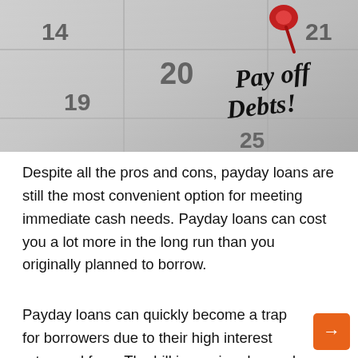[Figure (photo): A calendar with the text 'Pay off Debts!' written in black marker on the 20th, pinned with a red thumbtack.]
Despite all the pros and cons, payday loans are still the most convenient option for meeting immediate cash needs. Payday loans can cost you a lot more in the long run than you originally planned to borrow.
Payday loans can quickly become a trap for borrowers due to their high interest rates and fees. The bill is coming due and they take out